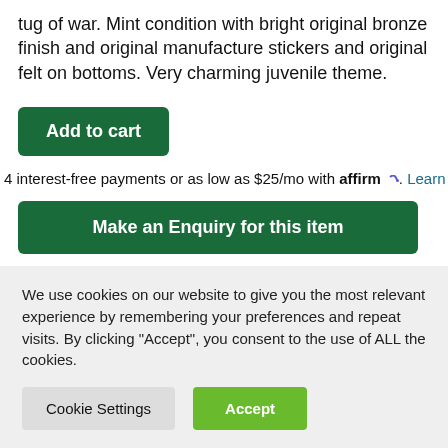tug of war. Mint condition with bright original bronze finish and original manufacture stickers and original felt on bottoms. Very charming juvenile theme.
Add to cart
4 interest-free payments or as low as $25/mo with affirm. Learn more
Make an Enquiry for this item
SKU 31660
We use cookies on our website to give you the most relevant experience by remembering your preferences and repeat visits. By clicking “Accept”, you consent to the use of ALL the cookies.
Cookie Settings
Accept